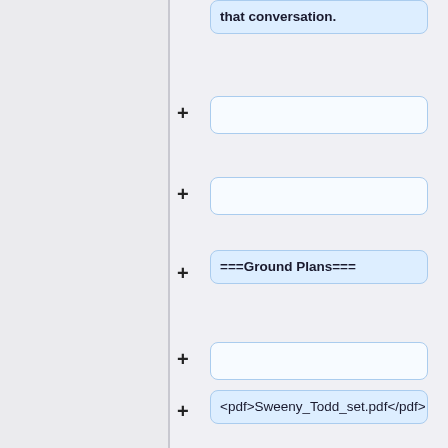that conversation.
===Ground Plans===
<pdf>Sweeny_Todd_set.pdf</pdf>
===Flys & Automation===
===Flys & Automation===
This was a relatively busy